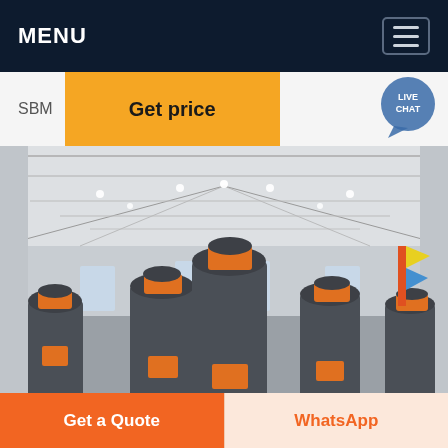MENU
SBM
Get price
[Figure (photo): Interior of a large industrial factory/showroom with multiple large cone crusher machines (dark grey and orange colored) arranged in rows under a high truss-beamed roof with skylights and strip lighting.]
Get a Quote
WhatsApp